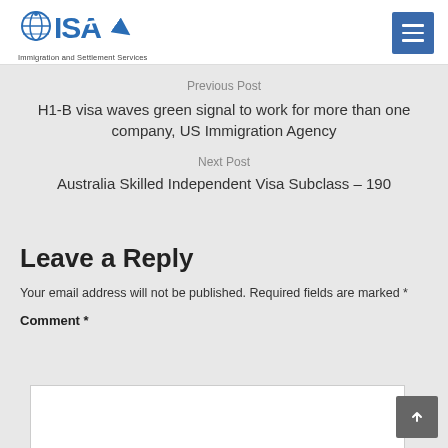[Figure (logo): ISA Immigration and Settlement Services logo with blue globe and arrow graphic]
Previous Post
H1-B visa waves green signal to work for more than one company, US Immigration Agency
Next Post
Australia Skilled Independent Visa Subclass – 190
Leave a Reply
Your email address will not be published. Required fields are marked *
Comment *